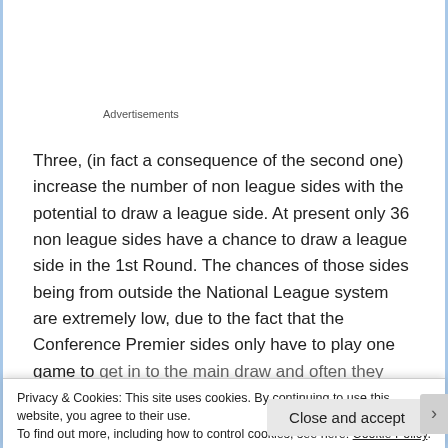Advertisements
Three, (in fact a consequence of the second one) increase the number of non league sides with the potential to draw a league side. At present only 36 non league sides have a chance to draw a league side in the 1st Round. The chances of those sides being from outside the National League system are extremely low, due to the fact that the Conference Premier sides only have to play one game to get in to the main draw and often they only have to beat a
Privacy & Cookies: This site uses cookies. By continuing to use this website, you agree to their use.
To find out more, including how to control cookies, see here: Cookie Policy.